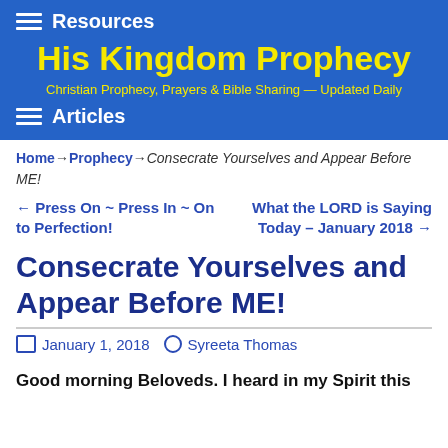Resources
His Kingdom Prophecy
Christian Prophecy, Prayers & Bible Sharing — Updated Daily
Articles
Home → Prophecy → Consecrate Yourselves and Appear Before ME!
← Press On ~ Press In ~ On to Perfection!  |  What the LORD is Saying Today – January 2018 →
Consecrate Yourselves and Appear Before ME!
January 1, 2018  Syreeta Thomas
Good morning Beloveds. I heard in my Spirit this